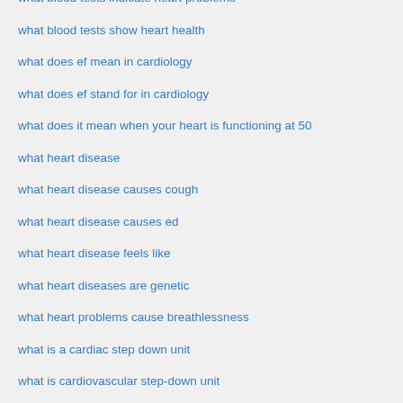what blood tests indicate heart problems
what blood tests show heart health
what does ef mean in cardiology
what does ef stand for in cardiology
what does it mean when your heart is functioning at 50
what heart disease
what heart disease causes cough
what heart disease causes ed
what heart disease feels like
what heart diseases are genetic
what heart problems cause breathlessness
what is a cardiac step down unit
what is cardiovascular step-down unit
what is ef in cardiology
what is the best heart health supplement